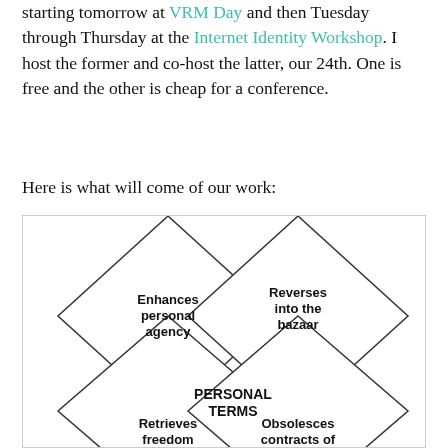starting tomorrow at VRM Day and then Tuesday through Thursday at the Internet Identity Workshop. I host the former and co-host the latter, our 24th. One is free and the other is cheap for a conference.
Here is what will come of our work:
[Figure (infographic): A diamond/rhombus diagram showing four overlapping diamonds arranged around a central label 'PERSONAL TERMS'. Top-left diamond: 'Enhances personal agency'. Top-right diamond: 'Reverses into the bazaar'. Bottom-left diamond: 'Retrieves freedom of contract'. Bottom-right diamond: 'Obsolesces contracts of adhesion'.]